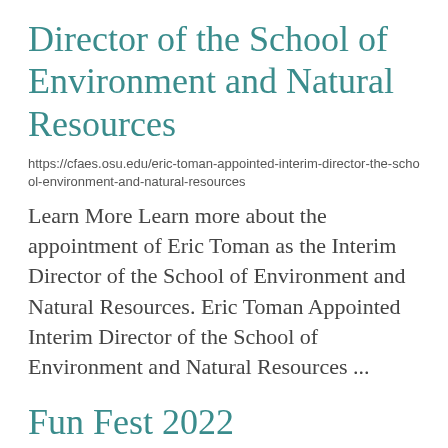Director of the School of Environment and Natural Resources
https://cfaes.osu.edu/eric-toman-appointed-interim-director-the-school-environment-and-natural-resources
Learn More Learn more about the appointment of Eric Toman as the Interim Director of the School of Environment and Natural Resources. Eric Toman Appointed Interim Director of the School of Environment and Natural Resources ...
Fun Fest 2022
https://ati.osu.edu/august-17-2022/fun-fest-